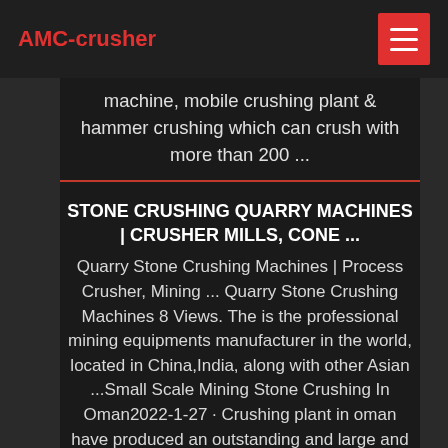AMC-crusher
machine, mobile crushing plant & hammer crushing which can crush with more than 200 ...
STONE CRUSHING QUARRY MACHINES | CRUSHER MILLS, CONE ...
Quarry Stone Crushing Machines | Process Crusher, Mining ... Quarry Stone Crushing Machines 8 Views. The is the professional mining equipments manufacturer in the world, located in China,India, along with other Asian ...Small Scale Mining Stone Crushing In Oman2022-1-27 · Crushing plant in oman have produced an outstanding and large and maintenance of crusher mobile crusher. stone crushing plants in oman solution for mining quarry. tons glass bottle crushing machine for sale 20210322